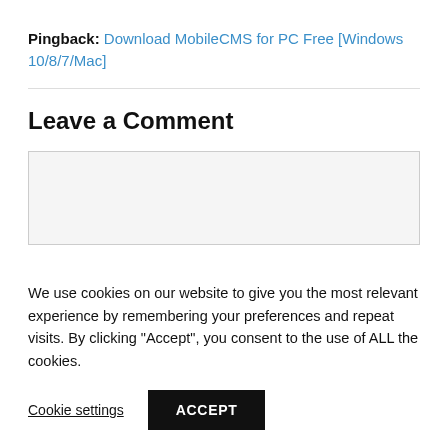Pingback: Download MobileCMS for PC Free [Windows 10/8/7/Mac]
Leave a Comment
We use cookies on our website to give you the most relevant experience by remembering your preferences and repeat visits. By clicking “Accept”, you consent to the use of ALL the cookies.
Cookie settings   ACCEPT